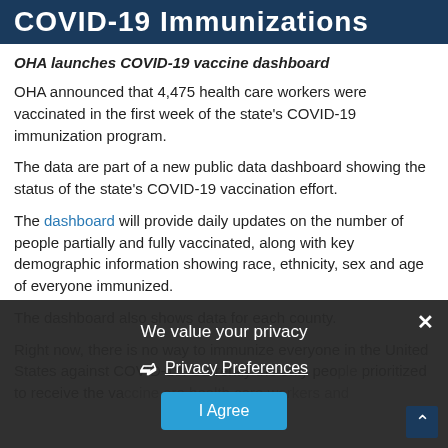COVID-19 Immunizations
OHA launches COVID-19 vaccine dashboard
OHA announced that 4,475 health care workers were vaccinated in the first week of the state's COVID-19 immunization program.
The data are part of a new public data dashboard showing the status of the state's COVID-19 vaccination effort.
The dashboard will provide daily updates on the number of people partially and fully vaccinated, along with key demographic information showing race, ethnicity, sex and age of everyone immunized.
The dashboard also shows data for each county.
Right now, there is no way to immunize everyone in the United States against COVID-19. Currently the only people prioritized to receive the vaccine are health care workers and
We value your privacy
Privacy Preferences
I Agree